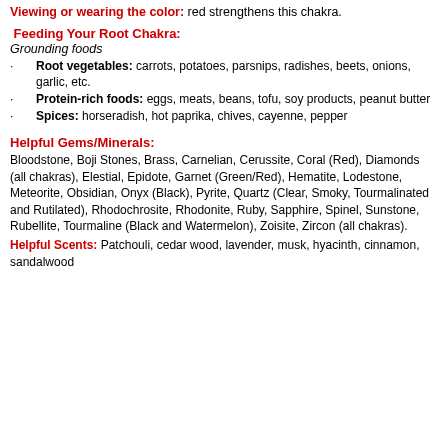Viewing or wearing the color: red strengthens this chakra.
Feeding Your Root Chakra:
Grounding foods
Root vegetables: carrots, potatoes, parsnips, radishes, beets, onions, garlic, etc.
Protein-rich foods: eggs, meats, beans, tofu, soy products, peanut butter
Spices: horseradish, hot paprika, chives, cayenne, pepper
Helpful Gems/Minerals:
Bloodstone, Boji Stones, Brass, Carnelian, Cerussite, Coral (Red), Diamonds (all chakras), Elestial, Epidote, Garnet (Green/Red), Hematite, Lodestone, Meteorite, Obsidian, Onyx (Black), Pyrite, Quartz (Clear, Smoky, Tourmalinated and Rutilated), Rhodochrosite, Rhodonite, Ruby, Sapphire, Spinel, Sunstone, Rubellite, Tourmaline (Black and Watermelon), Zoisite, Zircon (all chakras).
Helpful Scents: Patchouli, cedar wood, lavender, musk, hyacinth, cinnamon, sandalwood